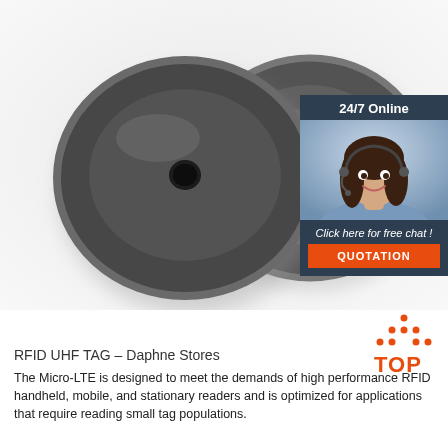[Figure (photo): Two dark gray circular RFID UHF tags with center holes, positioned on a white background]
[Figure (infographic): 24/7 Online chat widget with a smiling female customer service representative wearing a headset, a 'Click here for free chat!' message, and an orange QUOTATION button]
[Figure (illustration): Orange TOP badge/icon with small dots arranged in triangle above the word TOP]
RFID UHF TAG – Daphne Stores
The Micro-LTE is designed to meet the demands of high performance RFID handheld, mobile, and stationary readers and is optimized for applications that require reading small tag populations.